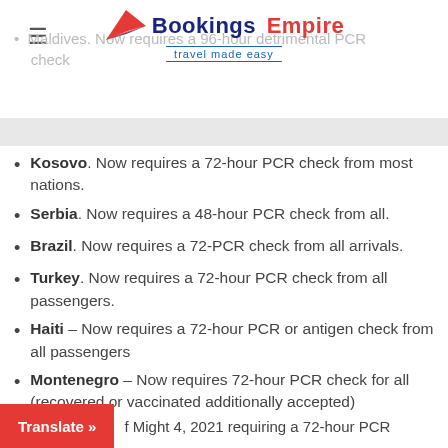Bookings Empire – travel made easy
Maldives. Now requires a 96-hour detrimental PCR check
Kosovo. Now requires a 72-hour PCR check from most nations.
Serbia. Now requires a 48-hour PCR check from all.
Brazil. Now requires a 72-PCR check from all arrivals.
Turkey. Now requires a 72-hour PCR check from all passengers.
Haiti – Now requires a 72-hour PCR or antigen check from all passengers
Montenegro – Now requires 72-hour PCR check for all (recovered or vaccinated additionally accepted)
Translate » of Might 4, 2021 requiring a 72-hour PCR